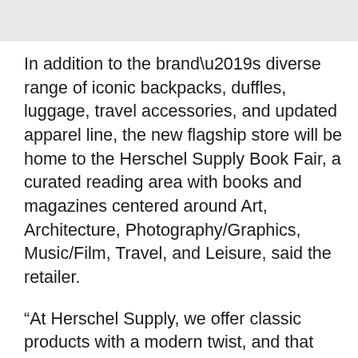[Figure (photo): Top portion of image, partially visible, appears to be a light gray/white background area]
In addition to the brand’s diverse range of iconic backpacks, duffles, luggage, travel accessories, and updated apparel line, the new flagship store will be home to the Herschel Supply Book Fair, a curated reading area with books and magazines centered around Art, Architecture, Photography/Graphics, Music/Film, Travel, and Leisure, said the retailer.
“At Herschel Supply, we offer classic products with a modern twist, and that design ethos extends to the way we think about retail too,” said Cormack. “Retail is an opportunity to have fun and foster community, we wanted to make sure that our store reflected that by creating a